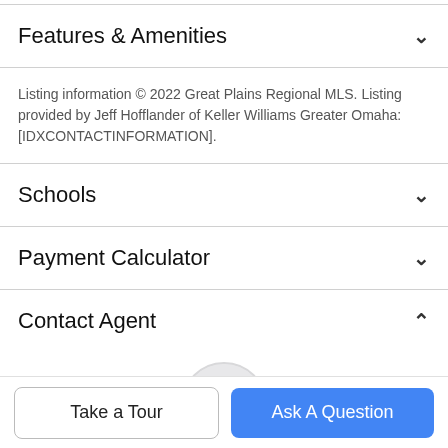Features & Amenities
Listing information © 2022 Great Plains Regional MLS. Listing provided by Jeff Hofflander of Keller Williams Greater Omaha: [IDXCONTACTINFORMATION].
Schools
Payment Calculator
Contact Agent
[Figure (photo): Circular portrait photo of a real estate agent (man in dark jacket) against a light background]
Take a Tour
Ask A Question